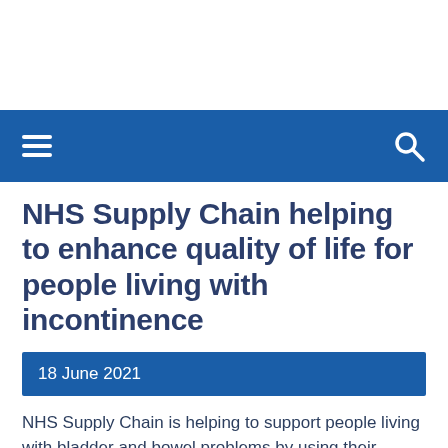NHS Supply Chain helping to enhance quality of life for people living with incontinence
18 June 2021
NHS Supply Chain is helping to support people living with bladder and bowel problems by using their experiences to ensure products to manage incontinence meet their needs.